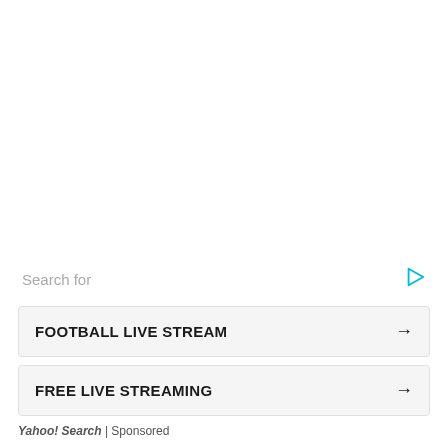Search for
FOOTBALL LIVE STREAM →
FREE LIVE STREAMING →
Yahoo! Search | Sponsored